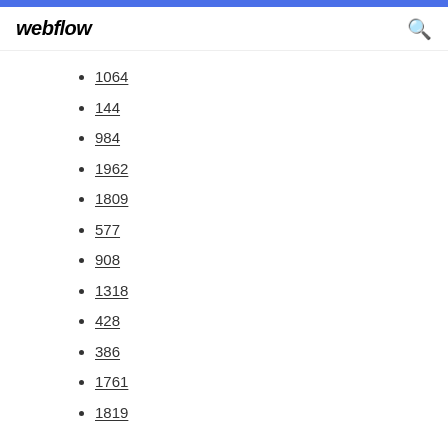webflow
1064
144
984
1962
1809
577
908
1318
428
386
1761
1819